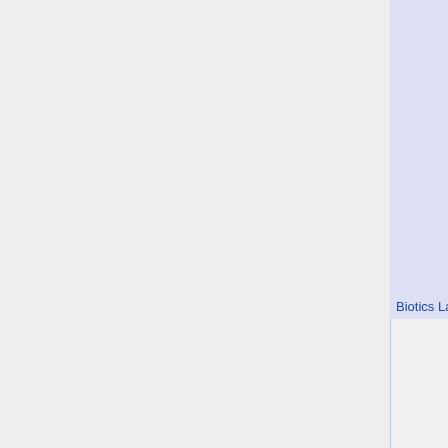| (merged) | Perk | Items |
| --- | --- | --- |
|  | Firebug | Microwave · Fireman's... |
|  | Gunslinger | 1858 Rev · M1911 Pi · .50 Deser · AF2011-A · .500 Mag · Bowie Kni |
|  | Sharpshooter | Wincheste · Crossbow · Kukri · Fre |
|  | SWAT | MP7 SMG · Kriss SMG · Tactical K |
|  | Survivalist | Freezethr · Gore Shiv |
|  | Other | 9mm Pist |
|  | Equipment | Combat A · Battery |
| Biotics Lab · Outpost · Burni |  |  |